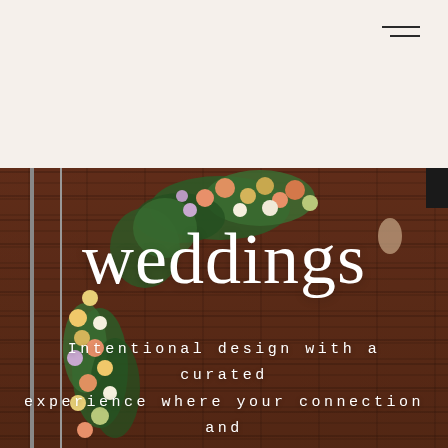[Figure (photo): A floral arch installation against a red brick wall in an industrial venue, featuring colorful blooms (peach, lavender, yellow, white) and lush greenery arranged along two vertical pipes. The word 'weddings' is overlaid in large white serif font. Below, white text reads 'Intentional design with a curated experience where your connection and'.]
weddings
Intentional design with a curated experience where your connection and